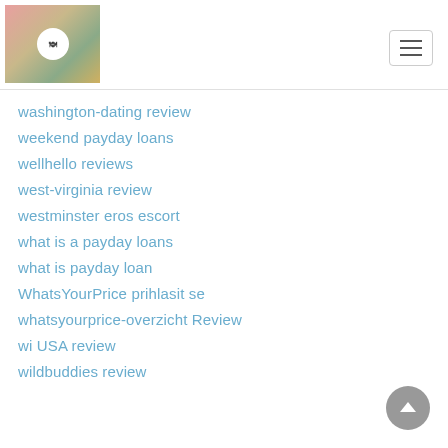Website navigation header with logo and hamburger menu
washington-dating review
weekend payday loans
wellhello reviews
west-virginia review
westminster eros escort
what is a payday loans
what is payday loan
WhatsYourPrice prihlasit se
whatsyourprice-overzicht Review
wi USA review
wildbuddies review